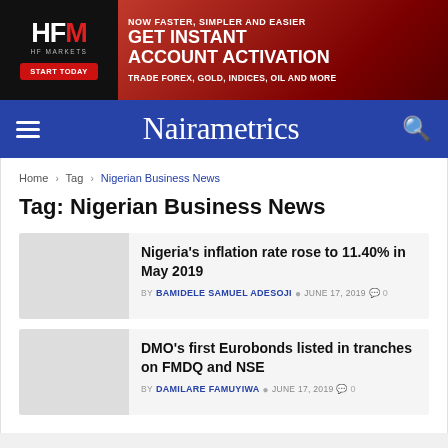[Figure (other): HFM HF Markets advertisement banner. Black left panel with HFM logo and red START TODAY button. Red right panel with text: NOW FASTER, SIMPLER AND EASIER / GET INSTANT ACCOUNT ACTIVATION / TRADE FOREX, GOLD, INDICES, OIL AND MORE]
Nairametrics
Home > Tag > Nigerian Business News
Tag: Nigerian Business News
Nigeria's inflation rate rose to 11.40% in May 2019
BY BAMIDELE SAMUEL ADESOJI  JUNE 17, 2019  0
DMO's first Eurobonds listed in tranches on FMDQ and NSE
BY DAMILARE FAMUYIWA  JUNE 17, 2019  0